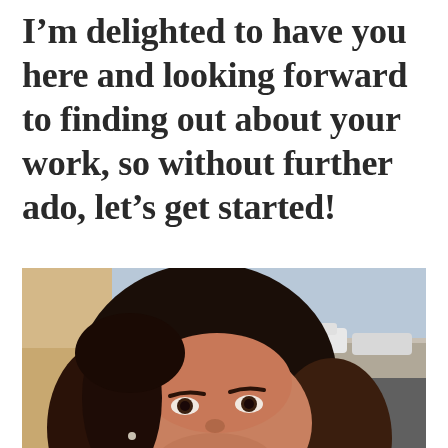I'm delighted to have you here and looking forward to finding out about your work, so without further ado, let's get started!
[Figure (photo): Selfie of a woman with dark hair, smiling, taken outdoors on a street with cars visible in the background]